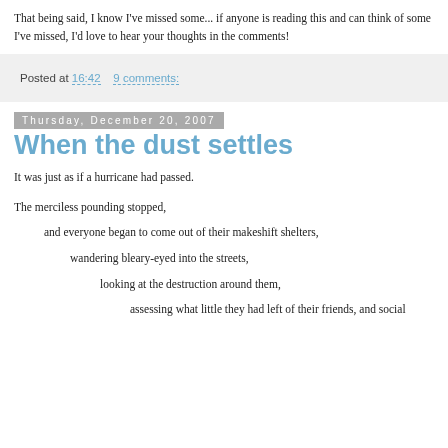That being said, I know I've missed some... if anyone is reading this and can think of some I've missed, I'd love to hear your thoughts in the comments!
Posted at 16:42    9 comments:
Thursday, December 20, 2007
When the dust settles
It was just as if a hurricane had passed.
The merciless pounding stopped,
and everyone began to come out of their makeshift shelters,
wandering bleary-eyed into the streets,
looking at the destruction around them,
assessing what little they had left of their friends, and social